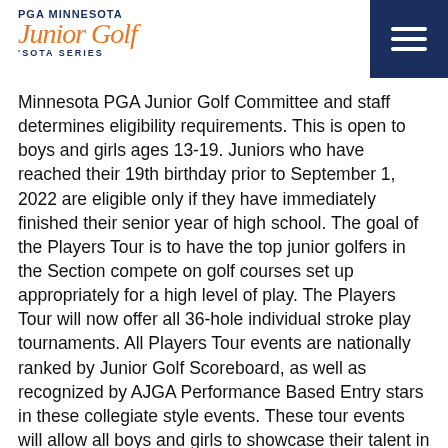PGA MINNESOTA Junior Golf 'SOTA SERIES
Minnesota PGA Junior Golf Committee and staff determines eligibility requirements. This is open to boys and girls ages 13-19. Juniors who have reached their 19th birthday prior to September 1, 2022 are eligible only if they have immediately finished their senior year of high school. The goal of the Players Tour is to have the top junior golfers in the Section compete on golf courses set up appropriately for a high level of play. The Players Tour will now offer all 36-hole individual stroke play tournaments. All Players Tour events are nationally ranked by Junior Golf Scoreboard, as well as recognized by AJGA Performance Based Entry stars in these collegiate style events. These tour events will allow all boys and girls to showcase their talent in an elite overall boy and girls contest (no age divisions). This tour is meant for highly skilled players with tournament experience. Course yardages will be approximately 6,600 – 6,900 for boys and 5,600 – 5,900 for girls. Each 36-hole Players Tour Event has an entry fee of $150.00. The annual membership fee for the Players Tour is